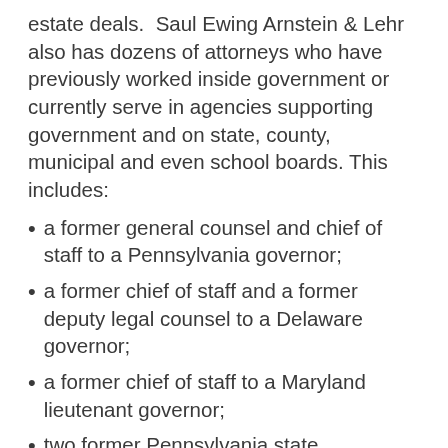estate deals.  Saul Ewing Arnstein & Lehr also has dozens of attorneys who have previously worked inside government or currently serve in agencies supporting government and on state, county, municipal and even school boards. This includes:
a former general counsel and chief of staff to a Pennsylvania governor;
a former chief of staff and a former deputy legal counsel to a Delaware governor;
a former chief of staff to a Maryland lieutenant governor;
two former Pennsylvania state legislators;